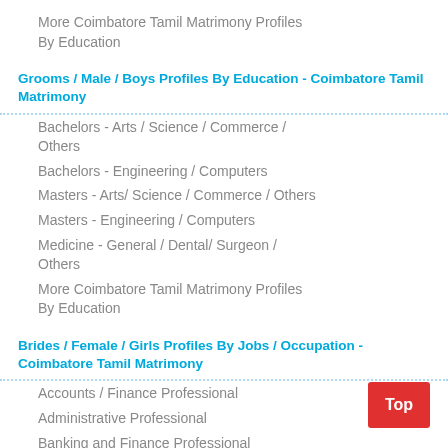More Coimbatore Tamil Matrimony Profiles By Education
Grooms / Male / Boys Profiles By Education - Coimbatore Tamil Matrimony
Bachelors - Arts / Science / Commerce / Others
Bachelors - Engineering / Computers
Masters - Arts/ Science / Commerce / Others
Masters - Engineering / Computers
Medicine - General / Dental/ Surgeon / Others
More Coimbatore Tamil Matrimony Profiles By Education
Brides / Female / Girls Profiles By Jobs / Occupation - Coimbatore Tamil Matrimony
Accounts / Finance Professional
Administrative Professional
Banking and Finance Professional
Business Man Professional
Clerk Professional